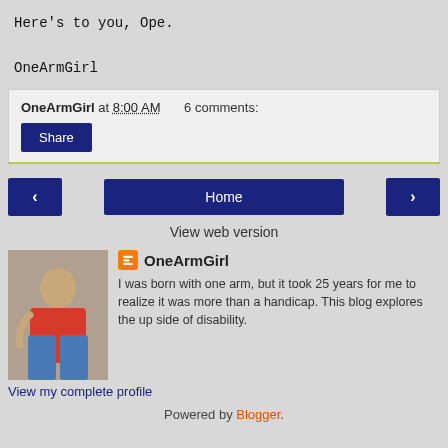Here's to you, Ope.

OneArmGirl
OneArmGirl at 8:00 AM   6 comments:
Share
‹   Home   ›
View web version
OneArmGirl
I was born with one arm, but it took 25 years for me to realize it was more than a handicap. This blog explores the up side of disability.
View my complete profile
Powered by Blogger.